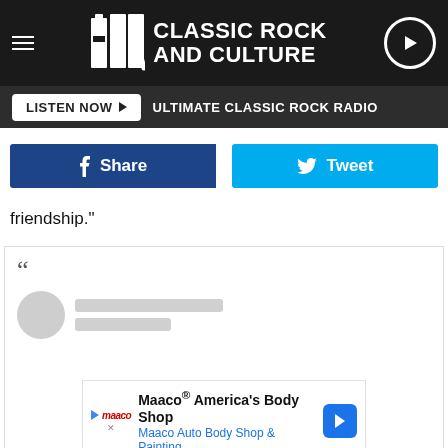UCR Classic Rock and Culture
LISTEN NOW | ULTIMATE CLASSIC ROCK RADIO
[Figure (screenshot): Facebook Share button and Twitter Tweet button]
friendship."
[Figure (screenshot): Embedded social media post with quote marks, loading avatar and placeholder text lines]
[Figure (screenshot): Advertisement: Maaco® America's Body Shop - Maaco Auto Body Shop & Painting]